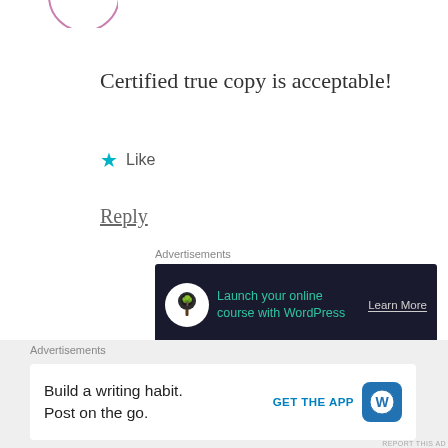Certified true copy is acceptable!
★ Like
Reply
Advertisements
[Figure (infographic): Dark banner ad: bonsai tree icon in white circle on dark navy background, green text 'Launch your online course with WordPress', grey 'Learn More' link]
REPORT THIS AD
calvin
MAY 19, 2021 AT 10:53 AM
Advertisements
[Figure (infographic): White banner ad on grey background: 'Build a writing habit. Post on the go.' with 'GET THE APP' link and WordPress icon]
REPORT THIS AD